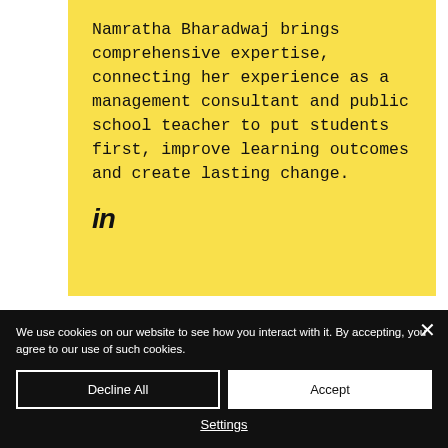Namratha Bharadwaj brings comprehensive expertise, connecting her experience as a management consultant and public school teacher to put students first, improve learning outcomes and create lasting change.
[Figure (logo): LinkedIn 'in' logo icon in bold italic black text]
We use cookies on our website to see how you interact with it. By accepting, you agree to our use of such cookies.
Decline All
Accept
Settings